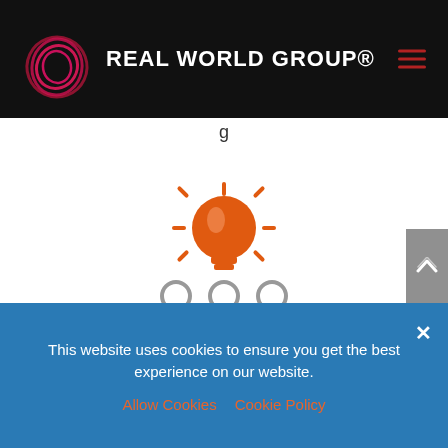REAL WORLD GROUP®
[Figure (illustration): Orange glowing lightbulb icon above three grey person/user silhouette icons, representing a team with ideas or knowledge sharing concept]
This website uses cookies to ensure you get the best experience on our website.
Allow Cookies   Cookie Policy